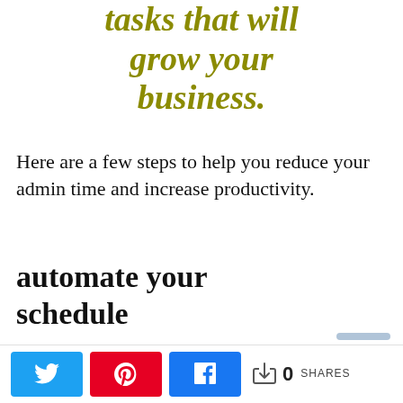tasks that will grow your business.
Here are a few steps to help you reduce your admin time and increase productivity.
automate your schedule
If your business requires
[Figure (infographic): Social share bar with Twitter, Pinterest, Facebook buttons and a share count of 0 SHARES]